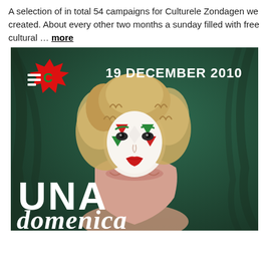A selection of in total 54 campaigns for Culturele Zondagen we created. About every other two months a sunday filled with free cultural … more
[Figure (photo): Promotional poster for 'Una Domenica' event on 19 December 2010 for Culturele Zondagen. Features a woman with curly blonde hair and harlequin-style face paint (white, red, green diamond patterns) on a dark teal/green draped background. A red starburst logo with a green 'C' appears top-left. Bold white text 'UNA' and italic 'domenica' overlay the bottom of the image.]